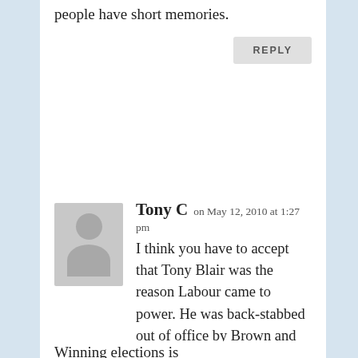people have short memories.
REPLY
Tony C on May 12, 2010 at 1:27 pm
[Figure (illustration): Grey avatar placeholder image showing silhouette of a person]
I think you have to accept that Tony Blair was the reason Labour came to power. He was back-stabbed out of office by Brown and his mates and they now have the result they deserve.
Winning elections is